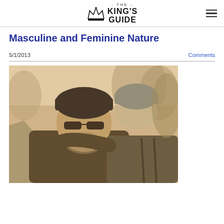THE KING'S GUIDE
Masculine and Feminine Nature
5/1/2013
Comments
[Figure (photo): Sepia-toned photograph of two people outdoors among trees and rocks. The person in the foreground is a man wearing a dark beanie hat and sunglasses, smiling, with a beard. A second person is behind him wearing a grey knit beanie and appears to be hugging him from behind. Both are dressed in outdoor/camping gear.]